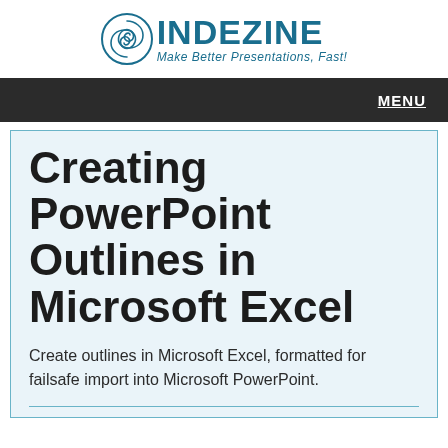INDEZINE — Make Better Presentations, Fast!
Creating PowerPoint Outlines in Microsoft Excel
Create outlines in Microsoft Excel, formatted for failsafe import into Microsoft PowerPoint.